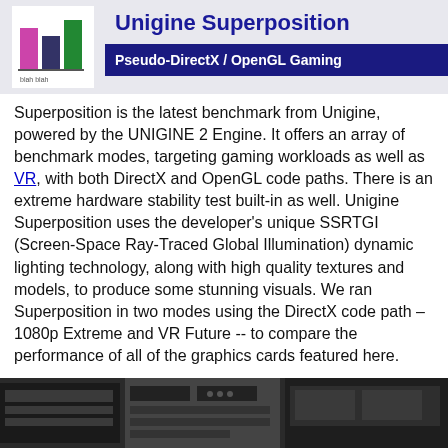[Figure (logo): Bar chart icon logo with pink, dark, and green bars on a white background with small text below]
Unigine Superposition
Pseudo-DirectX / OpenGL Gaming
Superposition is the latest benchmark from Unigine, powered by the UNIGINE 2 Engine. It offers an array of benchmark modes, targeting gaming workloads as well as VR, with both DirectX and OpenGL code paths. There is an extreme hardware stability test built-in as well. Unigine Superposition uses the developer's unique SSRTGI (Screen-Space Ray-Traced Global Illumination) dynamic lighting technology, along with high quality textures and models, to produce some stunning visuals. We ran Superposition in two modes using the DirectX code path – 1080p Extreme and VR Future -- to compare the performance of all of the graphics cards featured here.
[Figure (photo): Photo showing computer hardware equipment, appears to be graphics cards or PC components]